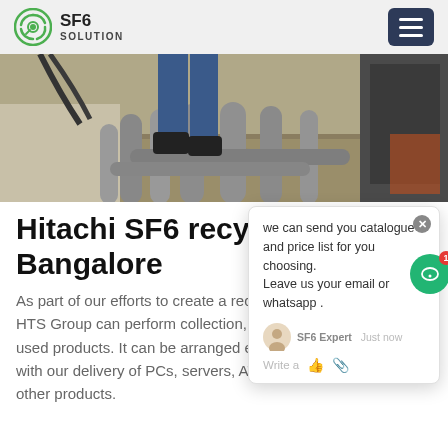SF6 SOLUTION
[Figure (photo): Outdoor industrial scene showing a worker's legs in blue overalls and black boots standing near large gray cylindrical pipes/conduits on dry grass ground. Part of SF6 gas handling equipment visible.]
Hitachi SF6 recycling Bangalore
As part of our efforts to create a recycling-based society, the HTS Group can perform collection, reuse, and recycling of used products. It can be arranged efficiently in conjunction with our delivery of PCs, servers, ATMs, store appliances, and other products.